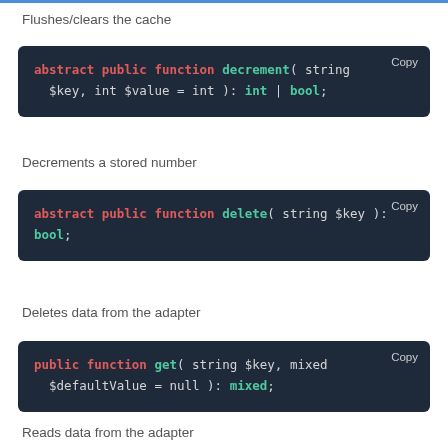Flushes/clears the cache
abstract public function decrement( string $key, int $value = int ): int | bool;
Decrements a stored number
abstract public function delete( string $key ): bool;
Deletes data from the adapter
public function get( string $key, mixed $defaultValue = null ): mixed;
Reads data from the adapter